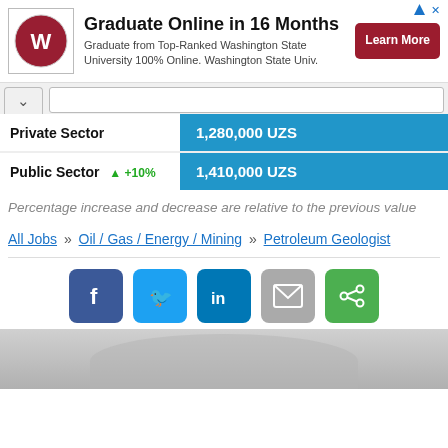[Figure (screenshot): Advertisement banner: WSU logo, 'Graduate Online in 16 Months' headline, body text, and red 'Learn More' button]
| Sector | Change | Salary |
| --- | --- | --- |
| Private Sector |  | 1,280,000 UZS |
| Public Sector | ▲ +10% | 1,410,000 UZS |
Percentage increase and decrease are relative to the previous value
All Jobs » Oil / Gas / Energy / Mining » Petroleum Geologist
[Figure (infographic): Social sharing buttons: Facebook, Twitter, LinkedIn, Email, Share]
[Figure (photo): Bottom advertisement banner showing a person, partially visible]